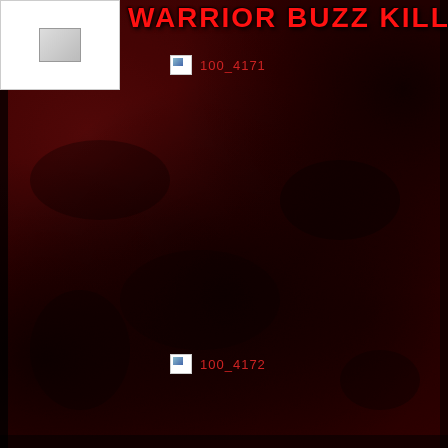[Figure (photo): Top-left placeholder image box, white background with gray border]
WARRIOR BUZZ KILL
[Figure (photo): Broken/placeholder image icon with label 100_4171]
100_4171
[Figure (photo): Broken/placeholder image icon with label 100_4172]
100_4172